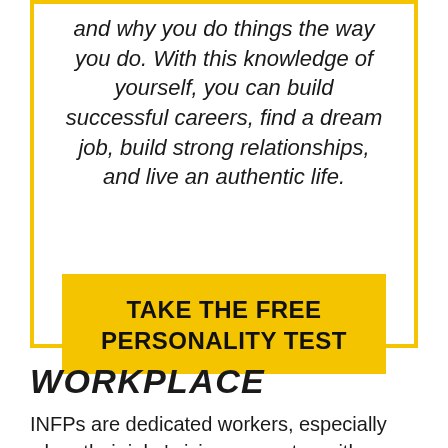and why you do things the way you do. With this knowledge of yourself, you can build successful careers, find a dream job, build strong relationships, and live an authentic life.
TAKE THE FREE PERSONALITY TEST
WORKPLACE
INFPs are dedicated workers, especially when their jobs' vision resonates with